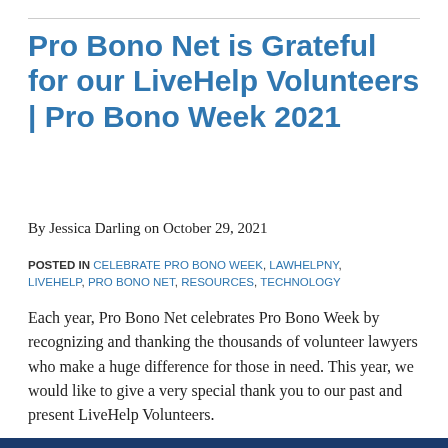Pro Bono Net is Grateful for our LiveHelp Volunteers | Pro Bono Week 2021
By Jessica Darling on October 29, 2021
POSTED IN CELEBRATE PRO BONO WEEK, LAWHELPNY, LIVEHELP, PRO BONO NET, RESOURCES, TECHNOLOGY
Each year, Pro Bono Net celebrates Pro Bono Week by recognizing and thanking the thousands of volunteer lawyers who make a huge difference for those in need. This year, we would like to give a very special thank you to our past and present LiveHelp Volunteers.